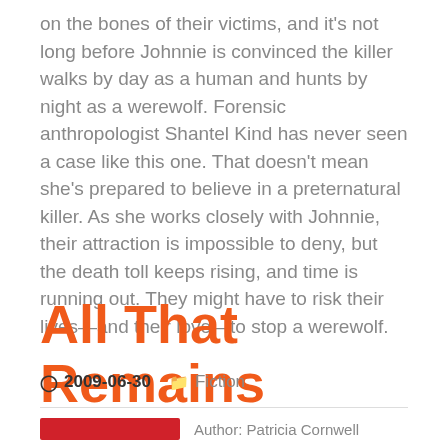on the bones of their victims, and it's not long before Johnnie is convinced the killer walks by day as a human and hunts by night as a werewolf. Forensic anthropologist Shantel Kind has never seen a case like this one. That doesn't mean she's prepared to believe in a preternatural killer. As she works closely with Johnnie, their attraction is impossible to deny, but the death toll keeps rising, and time is running out. They might have to risk their lives—and their love—to stop a werewolf.
All That Remains
2009-06-30   Fiction